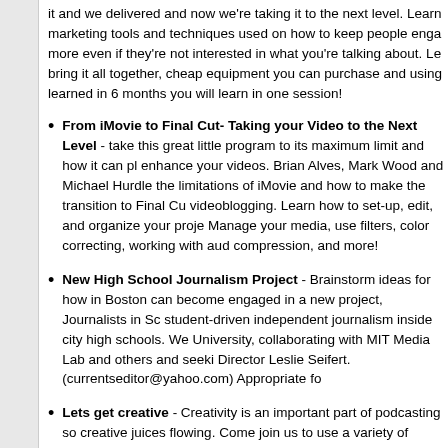it and we delivered and now we're taking it to the next level. Learn marketing tools and techniques used on how to keep people engaged more even if they're not interested in what you're talking about. Le bring it all together, cheap equipment you can purchase and using learned in 6 months you will learn in one session!
From iMovie to Final Cut- Taking your Video to the Next Level - take this great little program to its maximum limit and how it can pl enhance your videos. Brian Alves, Mark Wood and Michael Hurdle the limitations of iMovie and how to make the transition to Final Cu videoblogging. Learn how to set-up, edit, and organize your proje Manage your media, use filters, color correcting, working with aud compression, and more!
New High School Journalism Project - Brainstorm ideas for how in Boston can become engaged in a new project, Journalists in Sc student-driven independent journalism inside city high schools. We University, collaborating with MIT Media Lab and others and seeki Director Leslie Seifert. (currentseditor@yahoo.com) Appropriate fo
Lets get creative - Creativity is an important part of podcasting so creative juices flowing. Come join us to use a variety of materials t sides to wake up with Dave LaMorte teaching a guerrilla art class